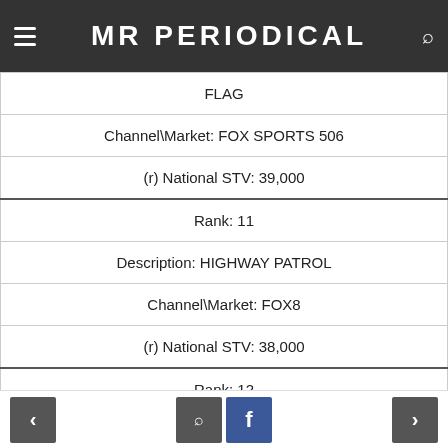MR PERIODICAL
| FLAG |
| Channel\Market: FOX SPORTS 506 |
| (r) National STV: 39,000 |
| Rank: 11 |
| Description: HIGHWAY PATROL |
| Channel\Market: FOX8 |
| (r) National STV: 38,000 |
| Rank: 12 |
| Description: SELLING HOUSES AUSTRALIA |
| Channel\Market: Lifestyle Channel |
| (r) National STV: 38,000 |
< | search | f | >